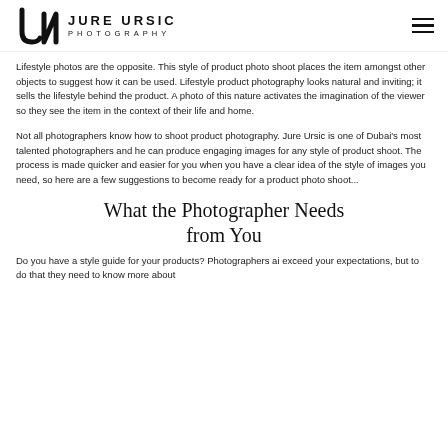JURE URSIC PHOTOGRAPHY
Lifestyle photos are the opposite. This style of product photo shoot places the item amongst other objects to suggest how it can be used. Lifestyle product photography looks natural and inviting; it sells the lifestyle behind the product. A photo of this nature activates the imagination of the viewer so they see the item in the context of their life and home.
Not all photographers know how to shoot product photography. Jure Ursic is one of Dubai's most talented photographers and he can produce engaging images for any style of product shoot. The process is made quicker and easier for you when you have a clear idea of the style of images you need, so here are a few suggestions to become ready for a product photo shoot...
What the Photographer Needs from You
Do you have a style guide for your products? Photographers ai exceed your expectations, but to do that they need to know more about